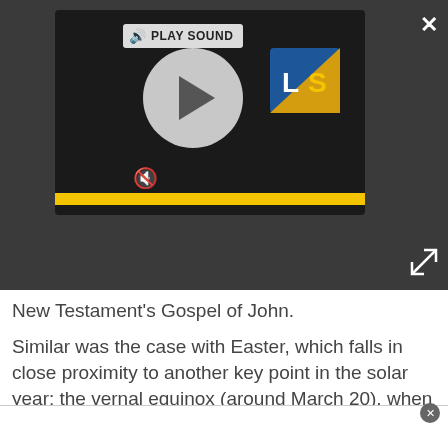[Figure (screenshot): Audio/video media player widget with play button circle, speaker/mute icon, yellow progress bar, LS logo, PLAY SOUND label, close X button, and expand icon on a dark background]
New Testament's Gospel of John.
Similar was the case with Easter, which falls in close proximity to another key point in the solar year: the vernal equinox (around March 20), when there are equal periods of light and darkness. For those in northern latitudes, the coming of spring is often met with excitement, as it means an end to the cold days of winter.
Spring also means the coming back to life of plants